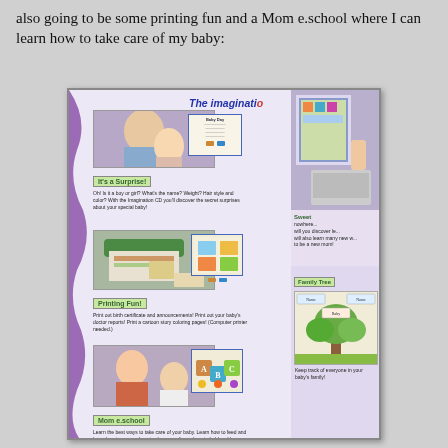also going to be some printing fun and a Mom e.school where I can learn how to take care of my baby:
[Figure (screenshot): Screenshot of a children's software product page titled 'The imagination...' showing multiple sections: 'It's a Surprise!' with baby doll image, 'Printing Fun!' with printer image, 'Mom e.school' with child care images, and right column showing computer with colorful display, 'Family Tree' section, all on a purple-themed layout.]